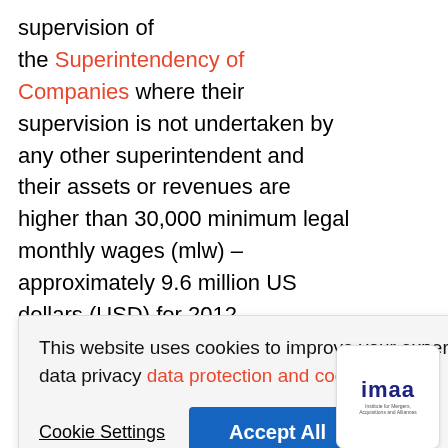supervision of the Superintendency of Companies where their supervision is not undertaken by any other superintendent and their assets or revenues are higher than 30,000 minimum legal monthly wages (mlw) – approximately 9.6 million US dollars (USD) for 2012.
This website uses cookies to improve your experience. To find out more, read our data privacy data protection and cookie policy
Cookie Settings  Accept All
[Figure (logo): imaa logo - Institute for Mergers, Acquisitions and Alliances]
partners can be severally and jointly